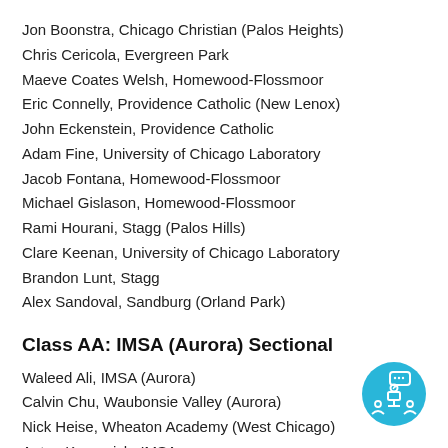Jon Boonstra, Chicago Christian (Palos Heights)
Chris Cericola, Evergreen Park
Maeve Coates Welsh, Homewood-Flossmoor
Eric Connelly, Providence Catholic (New Lenox)
John Eckenstein, Providence Catholic
Adam Fine, University of Chicago Laboratory
Jacob Fontana, Homewood-Flossmoor
Michael Gislason, Homewood-Flossmoor
Rami Hourani, Stagg (Palos Hills)
Clare Keenan, University of Chicago Laboratory
Brandon Lunt, Stagg
Alex Sandoval, Sandburg (Orland Park)
Class AA: IMSA (Aurora) Sectional
Waleed Ali, IMSA (Aurora)
Calvin Chu, Waubonsie Valley (Aurora)
Nick Heise, Wheaton Academy (West Chicago)
Anton Karpovich, IMSA
[Figure (illustration): Circular blue icon with a presenter at a podium with audience and speech bubble]